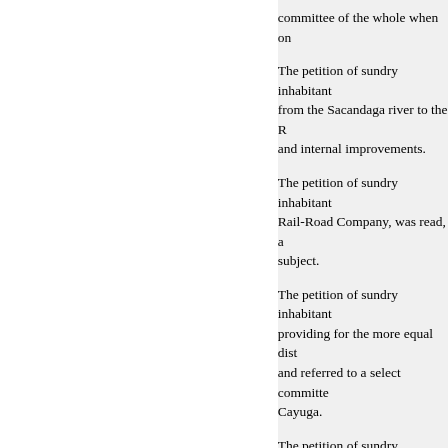committee of the whole when on
The petition of sundry inhabitants from the Sacandaga river to the R and internal improvements.
The petition of sundry inhabitants Rail-Road Company, was read, a subject.
The petition of sundry inhabitants providing for the more equal dist and referred to a select committe Cayuga.
The petition of sundry inhabitants located at Le Roy in said county, of the charters of banking and ins
The petition of sundry inhabitants authorising the town of Granville and repairing bridges in said tow attending this House from the co
The petition of sundry inhabitants remuneration for damages allege bridge pier on the Erie canal, was